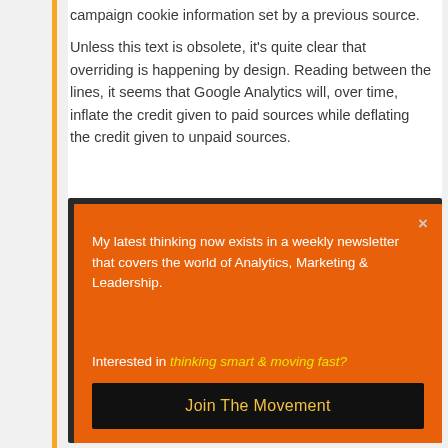campaign cookie information set by a previous source.
Unless this text is obsolete, it's quite clear that overriding is happening by design. Reading between the lines, it seems that Google Analytics will, over time, inflate the credit given to paid sources while deflating the credit given to unpaid sources.
[Figure (screenshot): Orange modal popup with white text reading 'My latest thinking now exists in a weekly newsletter that covers the world of Analytics, Marketing & Leadership.' followed by 'Interested in thinking smart & moving fast?' and a black button with yellow text 'Join The Movement'. A close X button is in the top right.]